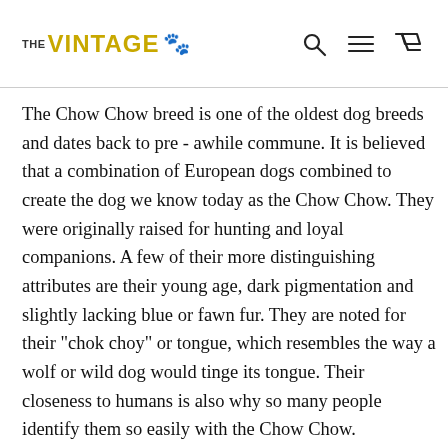THE VINTAGE 🐾
The Chow Chow breed is one of the oldest dog breeds and dates back to pre - awhile commune. It is believed that a combination of European dogs combined to create the dog we know today as the Chow Chow. They were originally raised for hunting and loyal companions. A few of their more distinguishing attributes are their young age, dark pigmentation and slightly lacking blue or fawn fur. They are noted for their "chok choy" or tongue, which resembles the way a wolf or wild dog would tinge its tongue. Their closeness to humans is also why so many people identify them so easily with the Chow Chow. Description of the Chow Chow Breed It really is hard to miss the thickly furred muzzle that is the hallmark of the breed. His head tends to...